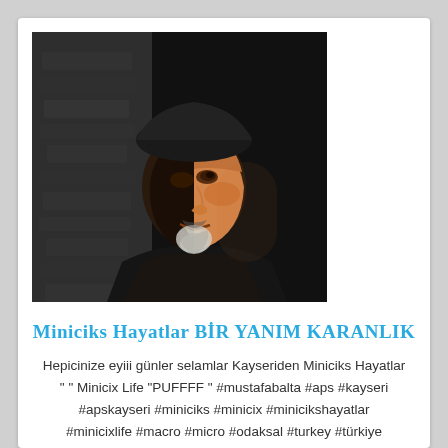[Figure (photo): A man with a beard wearing a dark cap, photographed in dramatic lighting against a stone wall background. High contrast black and white tones with the face partially illuminated.]
Miniciks Hayatlar BİR YANIM KARANLIK
Hepicinize eyiii günler selamlar Kayseriden Miniciks Hayatlar " " Minicix Life "PUFFFF " #mustafabalta #aps #kayseri #apskayseri #miniciks #minicix #minicikshayatlar #minicixlife #macro #micro #odaksal #turkey #türkiye #panorama #diecast #diaroma #ataturk #mercedes #yachtıng #yelkenli #sailor #sailing #sunset #bokeh #anchor #hotwheels